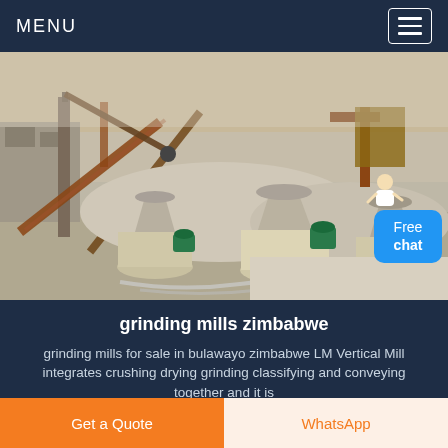MENU
[Figure (photo): Outdoor industrial mining/crushing site with cone crushers, conveyor belts, and heavy machinery on a rocky terrain]
grinding mills zimbabwe
grinding mills for sale in bulawayo zimbabwe LM Vertical Mill integrates crushing drying grinding classifying and conveying together and it is
Get a Quote
WhatsApp